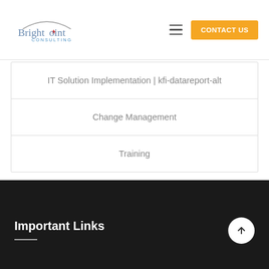[Figure (logo): BrightPoint Consulting logo with star and arc above text]
IT Solution Implementation | kfi-datareport-alt
Change Management
Training
Important Links